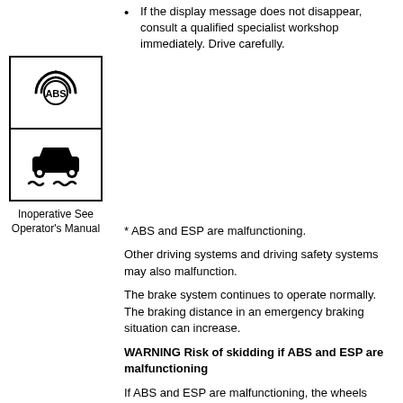If the display message does not disappear, consult a qualified specialist workshop immediately. Drive carefully.
[Figure (illustration): ABS warning symbol (circle with ABS text and brake disc arcs) above ESP symbol (car with wavy lines beneath indicating skidding), both in a bordered box]
Inoperative See Operator's Manual
* ABS and ESP are malfunctioning.
Other driving systems and driving safety systems may also malfunction.
The brake system continues to operate normally. The braking distance in an emergency braking situation can increase.
WARNING Risk of skidding if ABS and ESP are malfunctioning
If ABS and ESP are malfunctioning, the wheels could lock when braking and ESP cannot carry out vehicle stabilization.
The steering capability and braking characteristics are thus severely impaired. The braking distance in an emergency braking situation can increase. In addition, the driving safety systems may not be able to intervene.